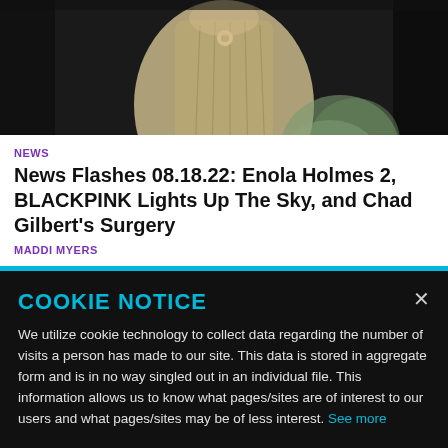[Figure (photo): Partial photo of a person wearing a vintage/period pale green corset-style gown, seated against a dark background, with ruffled fabric visible to the right]
NEWS
News Flashes 08.18.22: Enola Holmes 2, BLACKPINK Lights Up The Sky, and Chad Gilbert's Surgery
MADDI MYERS
COOKIE NOTICE
We utilize cookie technology to collect data regarding the number of visits a person has made to our site. This data is stored in aggregate form and is in no way singled out in an individual file. This information allows us to know what pages/sites are of interest to our users and what pages/sites may be of less interest. See more